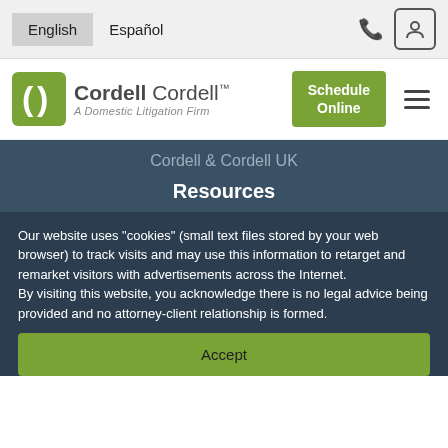English  Español
[Figure (logo): Cordell Cordell logo - A Domestic Litigation Firm with green bracket icon]
Cordell & Cordell UK
Resources
Dads Divorce®
MensRights.com
MensDivorce.com
Cordell.TV
Divorce eBooks
Our website uses "cookies" (small text files stored by your web browser) to track visits and may use this information to retarget and remarket visitors with advertisements across the Internet.
By visiting this website, you acknowledge there is no legal advice being provided and no attorney-client relationship is formed.
Accept